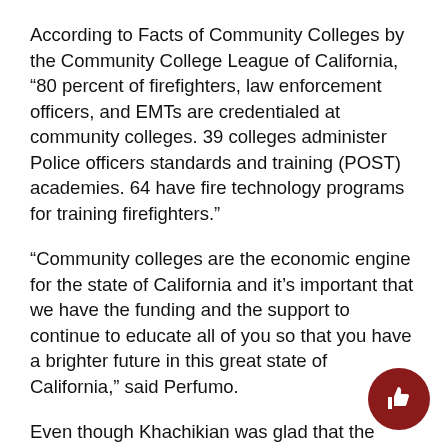According to Facts of Community Colleges by the Community College League of California, ‘80 percent of firefighters, law enforcement officers, and EMTs are credentialed at community colleges. 39 colleges administer Police officers standards and training (POST) academies. 64 have fire technology programs for training firefighters.”
“Community colleges are the economic engine for the state of California and it’s important that we have the funding and the support to continue to educate all of you so that you have a brighter future in this great state of California,” said Perfumo.
Even though Khachikian was glad that the budget passed. She said that “the fight is not over there,” since there will be propositions in upcoming elections that may change the current budget or how it will be sp